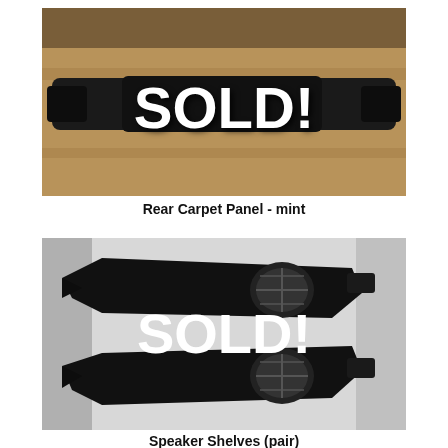[Figure (photo): Photo of a black rear carpet panel (long, narrow strip) on a wooden floor, with a large white SOLD! text overlay]
Rear Carpet Panel - mint
[Figure (photo): Photo of two black speaker shelves (pair) laid flat on a white surface, with a large white SOLD! text overlay]
Speaker Shelves (pair)